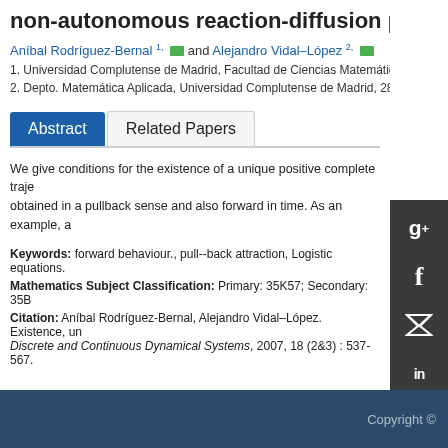non-autonomous reaction-diffusion p
Aníbal Rodríguez-Bernal 1, [email] and Alejandro Vidal–López 2, [email]
1. Universidad Complutense de Madrid, Facultad de Ciencias Matemática, Mate
2. Depto. Matemática Aplicada, Universidad Complutense de Madrid, 28040 Mad
Abstract | Related Papers
We give conditions for the existence of a unique positive complete traje obtained in a pullback sense and also forward in time. As an example, a
Keywords: forward behaviour., pull--back attraction, Logistic equations.
Mathematics Subject Classification: Primary: 35K57; Secondary: 35B
Citation: Aníbal Rodríguez-Bernal, Alejandro Vidal–López. Existence, un Discrete and Continuous Dynamical Systems, 2007, 18 (2&3) : 537-567.
Copyright ©